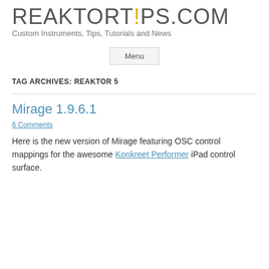REAKTORTIPS.COM — Custom Instruments, Tips, Tutorials and News
Menu
TAG ARCHIVES: REAKTOR 5
Mirage 1.9.6.1
6 Comments
Here is the new version of Mirage featuring OSC control mappings for the awesome Konkreet Performer iPad control surface.